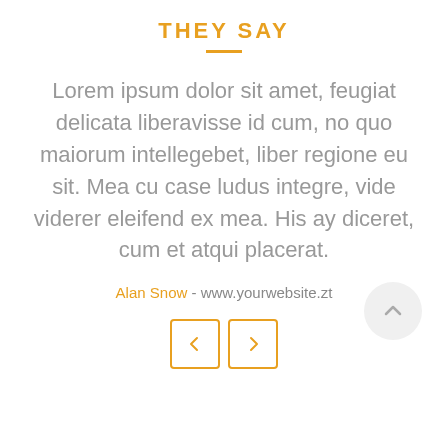THEY SAY
Lorem ipsum dolor sit amet, feugiat delicata liberavisse id cum, no quo maiorum intellegebat, liber regione eu sit. Mea cu case ludus integre, vide viderer eleifend ex mea. His ay diceret, cum et atqui placerat.
Alan Snow - www.yourwebsite.zt